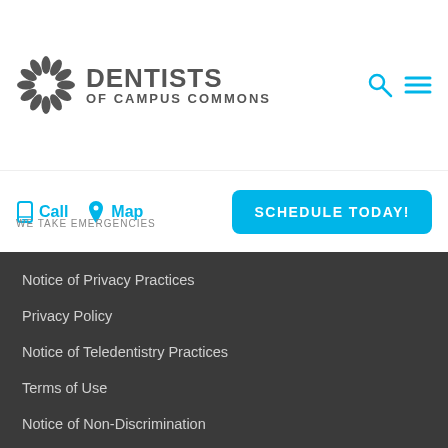[Figure (logo): Dentists of Campus Commons logo with sunburst icon and text]
Call  Map  WE TAKE EMERGENCIES
SCHEDULE TODAY!
Notice of Privacy Practices
Privacy Policy
Notice of Teledentistry Practices
Terms of Use
Notice of Non-Discrimination
Site Map
CONNECT
Like Us on Facebook
Find Us on Google